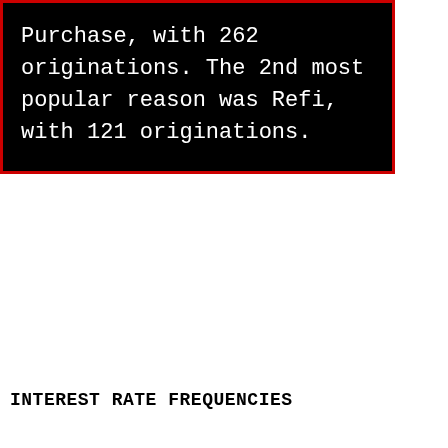Purchase, with 262 originations. The 2nd most popular reason was Refi, with 121 originations.
INTEREST RATE FREQUENCIES